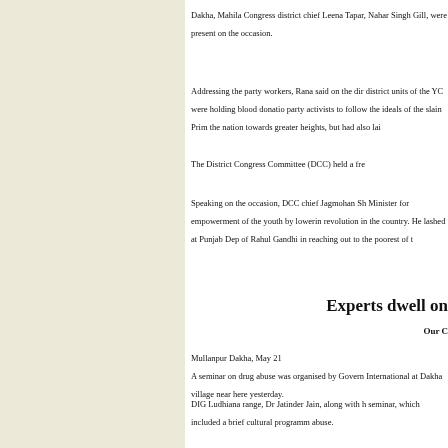Dakha, Mahila Congress district chief Leena Tapar, Nahar Singh Gill, were present on the occasion.
Addressing the party workers, Rana said on the dir district units of the YC were holding blood donatio party activists to follow the ideals of the slain Prim the nation towards greater heights, but had also lai
The District Congress Committee (DCC) held a fre
Speaking on the occasion, DCC chief Jagmohan Sh Minister for empowerment of the youth by lowerin revolution in the country. He lashed at Punjab Dep of Rahul Gandhi in reaching out to the poorest of t
Experts dwell on
Our C
Mullanpur Dakha, May 21
A seminar on drug abuse was organised by Govern International at Dakha village near here yesterday.
DIG Ludhiana range, Dr Jatinder Jain, along with h seminar, which included a brief cultural programm abuse.